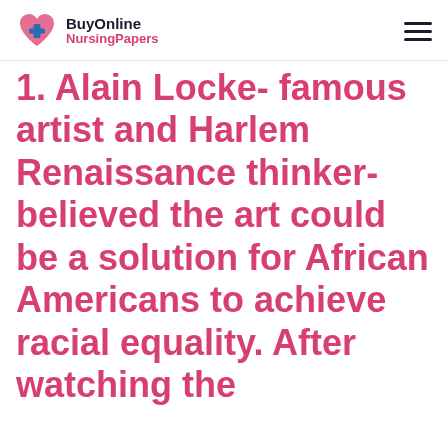BuyOnline NursingPapers
1. Alain Locke- famous artist and Harlem Renaissance thinker- believed the art could be a solution for African Americans to achieve racial equality. After watching the